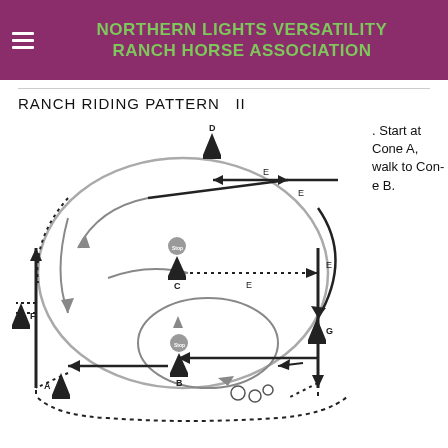NORTHERN LIGHTS VERSATILITY RANCH HORSE ASSOCIATION
RANCH RIDING PATTERN  II
[Figure (schematic): Ranch Riding Pattern II diagram showing a riding arena with cones labeled A through G, dotted paths, arrows indicating direction of travel, stop signs at cones B and C, and various movement patterns including extended trot (E), walk, lope, and back-up sections.]
. Start at Cone A, walk to Cone B.